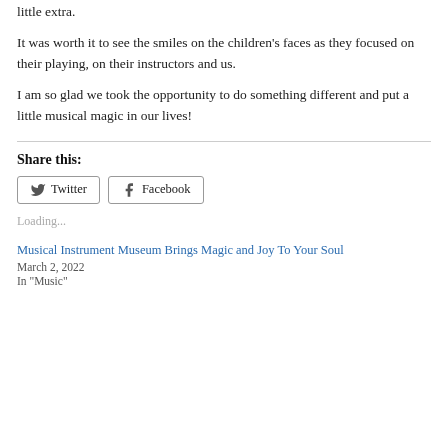little extra.
It was worth it to see the smiles on the children's faces as they focused on their playing, on their instructors and us.
I am so glad we took the opportunity to do something different and put a little musical magic in our lives!
Share this:
Loading...
Musical Instrument Museum Brings Magic and Joy To Your Soul
March 2, 2022
In "Music"